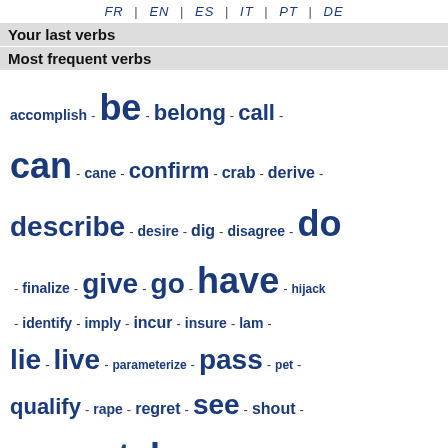FR | EN | ES | IT | PT | DE
Your last verbs
Most frequent verbs
accomplish - be - belong - call - can - cane - confirm - crab - derive - describe - desire - dig - disagree - do - finalize - give - go - have - hijack - identify - imply - incur - insure - lam - lie - live - parameterize - pass - pet - qualify - rape - regret - see - shout - sightsee - sort - take - tighten -